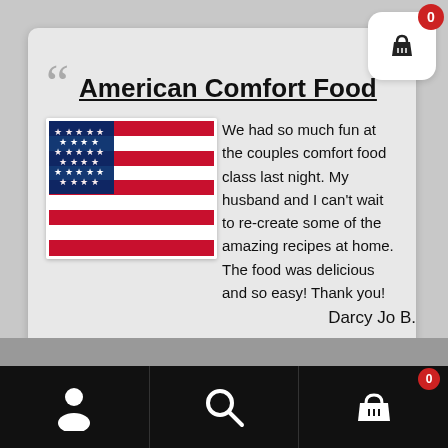American Comfort Food
[Figure (photo): American flag waving, with blue canton and red/white stripes]
We had so much fun at the couples comfort food class last night. My husband and I can't wait to re-create some of the amazing recipes at home. The food was delicious and so easy! Thank you!
Darcy Jo B.
[Figure (other): Five gold star rating]
[Figure (other): Pause and next playback controls]
[Figure (other): Bottom navigation bar with user, search, and cart icons]